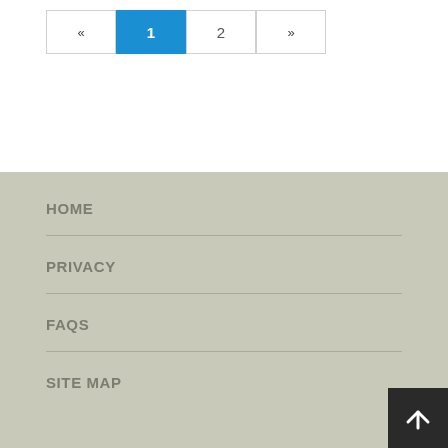« 1 2 »
HOME
PRIVACY
FAQS
SITE MAP
↑